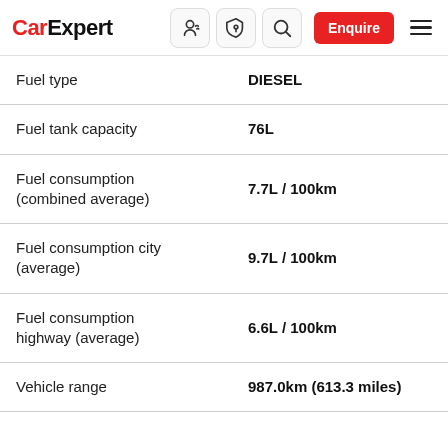CarExpert — Enquire
| Specification | Value |
| --- | --- |
| Fuel type | DIESEL |
| Fuel tank capacity | 76L |
| Fuel consumption (combined average) | 7.7L / 100km |
| Fuel consumption city (average) | 9.7L / 100km |
| Fuel consumption highway (average) | 6.6L / 100km |
| Vehicle range | 987.0km (613.3 miles) |